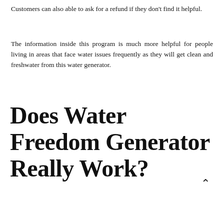Customers can also able to ask for a refund if they don't find it helpful.
The information inside this program is much more helpful for people living in areas that face water issues frequently as they will get clean and freshwater from this water generator.
Does Water Freedom Generator Really Work?